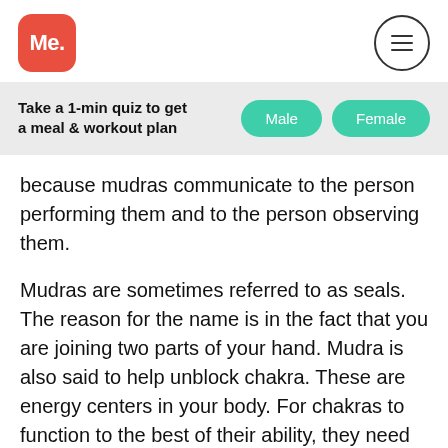[Figure (logo): Red rounded square logo with white text 'Me.']
[Figure (other): Circle menu icon with three horizontal lines (hamburger menu)]
Take a 1-min quiz to get a meal & workout plan
Male
Female
because mudras communicate to the person performing them and to the person observing them.
Mudras are sometimes referred to as seals. The reason for the name is in the fact that you are joining two parts of your hand. Mudra is also said to help unblock chakra. These are energy centers in your body. For chakras to function to the best of their ability, they need to stay open or balanced. When a certain chakra is blocked, one may experience physical or emotional symptoms related to that